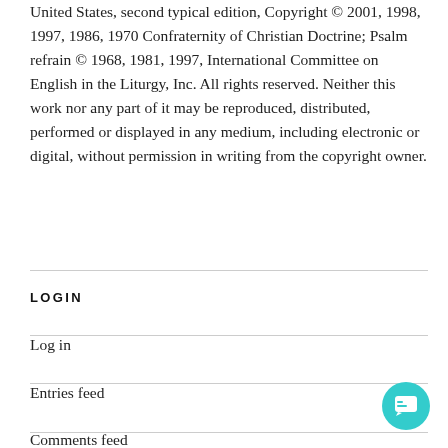United States, second typical edition, Copyright © 2001, 1998, 1997, 1986, 1970 Confraternity of Christian Doctrine; Psalm refrain © 1968, 1981, 1997, International Committee on English in the Liturgy, Inc. All rights reserved. Neither this work nor any part of it may be reproduced, distributed, performed or displayed in any medium, including electronic or digital, without permission in writing from the copyright owner.
LOGIN
Log in
Entries feed
Comments feed